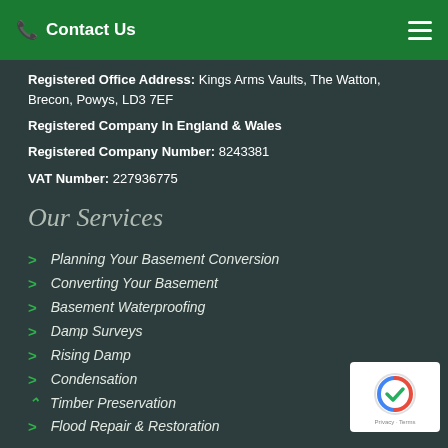Contact Us
Registered Office Address: Kings Arms Vaults, The Watton, Brecon, Powys, LD3 7EF
Registered Company In England & Wales
Registered Company Number: 8243381
VAT Number: 227936775
Our Services
Planning Your Basement Conversion
Converting Your Basement
Basement Waterproofing
Damp Surveys
Rising Damp
Condensation
Timber Preservation
Flood Repair & Restoration